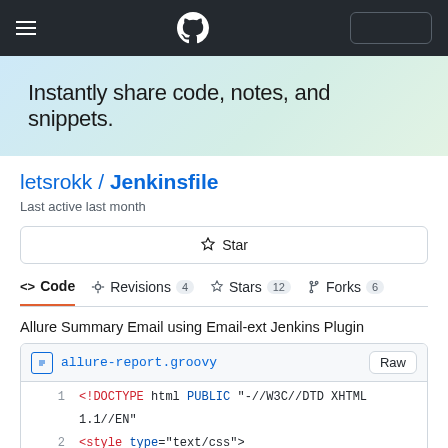GitHub navigation bar with hamburger menu, GitHub logo, and search box
Instantly share code, notes, and snippets.
letsrokk / Jenkinsfile
Last active last month
Star
<> Code  Revisions 4  Stars 12  Forks 6
Allure Summary Email using Email-ext Jenkins Plugin
allure-report.groovy  Raw
1  <!DOCTYPE html PUBLIC "-//W3C//DTD XHTML 1.1//EN"
2  <style type="text/css">